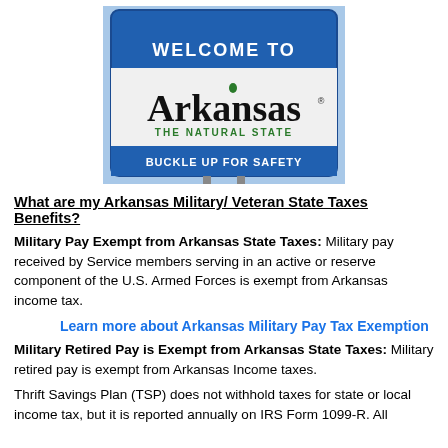[Figure (photo): Welcome to Arkansas – The Natural State road sign with 'Buckle Up for Safety' at bottom, blue background with white and black text]
What are my Arkansas Military/ Veteran State Taxes Benefits?
Military Pay Exempt from Arkansas State Taxes: Military pay received by Service members serving in an active or reserve component of the U.S. Armed Forces is exempt from Arkansas income tax.
Learn more about Arkansas Military Pay Tax Exemption
Military Retired Pay is Exempt from Arkansas State Taxes: Military retired pay is exempt from Arkansas Income taxes.
Thrift Savings Plan (TSP) does not withhold taxes for state or local income tax, but it is reported annually on IRS Form 1099-R. All